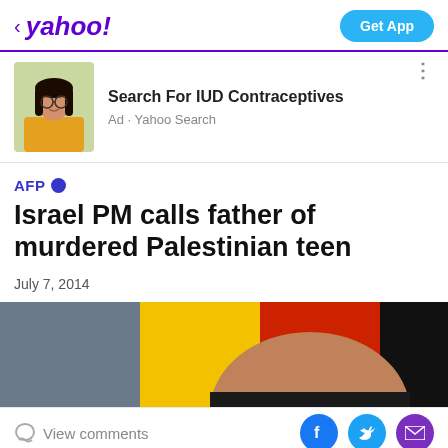< yahoo!  Get App
[Figure (photo): Advertisement photo of a young woman with long dark hair wearing a yellow top, with green foliage background. Ad reads: Search For IUD Contraceptives, Ad · Yahoo Search]
Search For IUD Contraceptives
Ad · Yahoo Search
AFP
Israel PM calls father of murdered Palestinian teen
July 7, 2014
[Figure (photo): Close-up photo of an older man, partially visible, with a red and yellow flag in the background]
View comments  [Facebook] [Twitter] [Email]